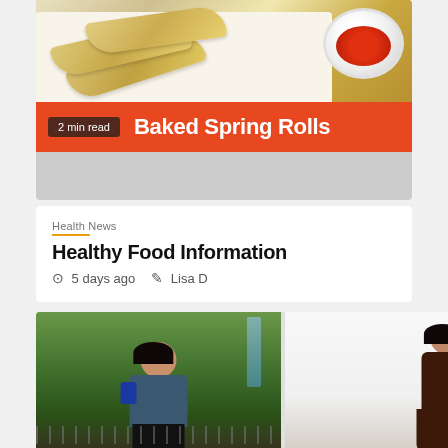[Figure (photo): Photo of baked spring rolls on a plate with a bowl of dipping sauce, with orange banner overlay showing title and read time]
Baked Spring Rolls
2 min read
Health News
Healthy Food Information
5 days ago   Lisa D
[Figure (photo): Before and after weight loss comparison photos: left shows a heavier woman standing outdoors near a waterfall and fence, right shows a slimmer woman in a dark dress on a white background]